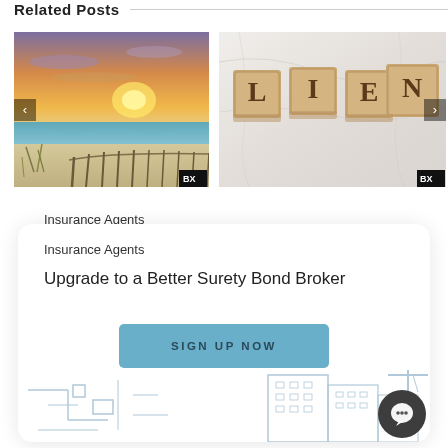Related Posts
[Figure (photo): Beach sunset with sand dunes and wooden fence at dusk, orange and purple sky]
[Figure (photo): Wooden letter blocks spelling LIEN on a white marble surface]
Insurance Agents
Upgrade to a Better Surety Bond Broker
SIGN UP NOW
[Figure (illustration): Background illustration of buildings and architecture line art with a chat bubble icon]